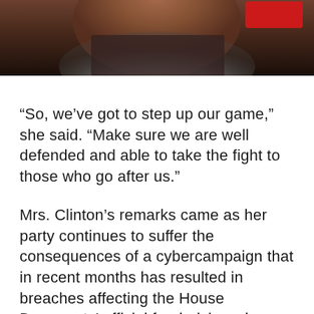[Figure (photo): Partial photo of a person with a beard wearing a dark shirt, with a red badge/button visible in the upper right corner. Only the lower portion of the face and upper torso are visible.]
“So, we’ve got to step up our game,” she said. “Make sure we are well defended and able to take the fight to those who go after us.”
Mrs. Clinton’s remarks came as her party continues to suffer the consequences of a cybercampaign that in recent months has resulted in breaches affecting the House Democrats’ official fundraising wing and upwards of 100 separate party officials and organization — all in addition to the DNC hack that resulted in thousands of internal emails